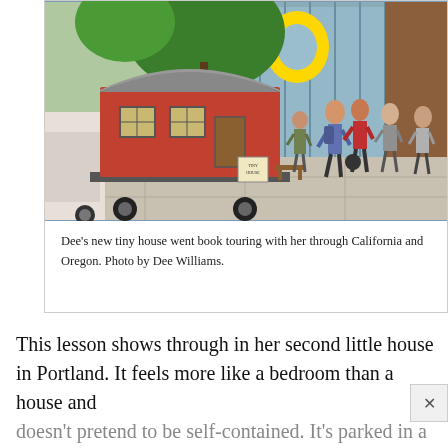[Figure (photo): A red tiny house on a trailer parked on a campus walkway in front of a building with a large yellow University of Oregon 'O' logo. Students are walking past. Trees visible in background.]
Dee's new tiny house went book touring with her through California and Oregon. Photo by Dee Williams.
This lesson shows through in her second little house in Portland. It feels more like a bedroom than a house and doesn't pretend to be self-contained. It's parked in a